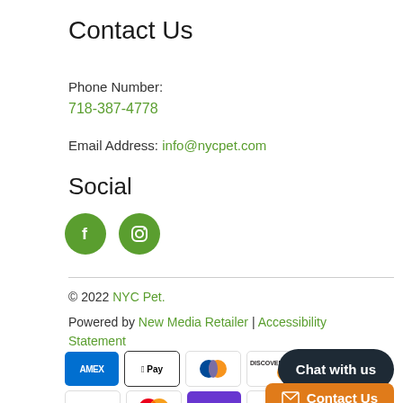Contact Us
Phone Number:
718-387-4778
Email Address: info@nycpet.com
Social
[Figure (illustration): Facebook and Instagram social media icons as green circles with white logos]
© 2022 NYC Pet.
Powered by New Media Retailer | Accessibility Statement
[Figure (illustration): Payment method icons: AMEX, Apple Pay, Diners Club, Discover, Google Pay, Mastercard, OPay, Visa]
[Figure (illustration): Chat with us dark button and Contact Us orange button]